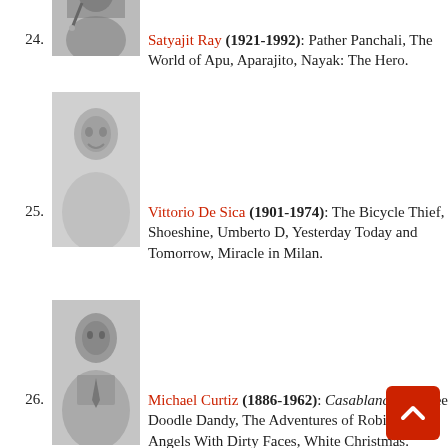24. Satyajit Ray (1921-1992): Pather Panchali, The World of Apu, Aparajito, Nayak: The Hero.
[Figure (photo): Black and white portrait photo of Satyajit Ray]
25. Vittorio De Sica (1901-1974): The Bicycle Thief, Shoeshine, Umberto D, Yesterday Today and Tomorrow, Miracle in Milan.
[Figure (photo): Black and white portrait photo of Vittorio De Sica]
26. Michael Curtiz (1886-1962): Casablanca, Yankee Doodle Dandy, The Adventures of Robin Hood, Angels With Dirty Faces, White Christmas.
[Figure (photo): Black and white portrait photo of Michael Curtiz]
27. George Stevens (1904-1975): Giant, Shane, A Place in the Sun, The Diary of Anne Frank, Woman of the Year, Swing Time.
[Figure (photo): Black and white portrait photo of George Stevens]